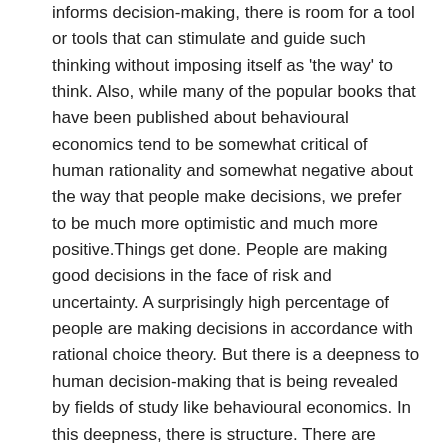informs decision-making, there is room for a tool or tools that can stimulate and guide such thinking without imposing itself as 'the way' to think. Also, while many of the popular books that have been published about behavioural economics tend to be somewhat critical of human rationality and somewhat negative about the way that people make decisions, we prefer to be much more optimistic and much more positive.Things get done. People are making good decisions in the face of risk and uncertainty. A surprisingly high percentage of people are making decisions in accordance with rational choice theory. But there is a deepness to human decision-making that is being revealed by fields of study like behavioural economics. In this deepness, there is structure. There are patterns of behaviour that can be useful to know and useful to think about.
Along the way, we introduce readers to some of the most significant findings in behavioural economics. From